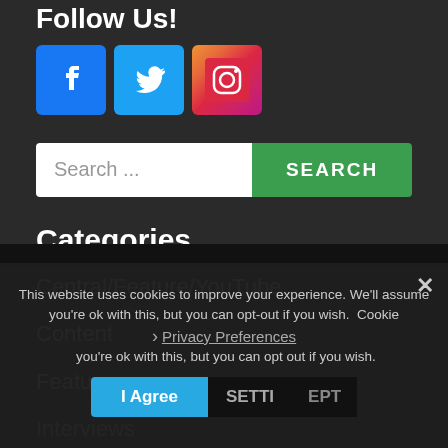Follow Us!
[Figure (illustration): Three social media icons: Facebook (blue), Twitter (light blue), Instagram (gradient)]
Search ...
Central/Feature/YouTube
Content
Features
Interviews
This website uses cookies to improve your experience. We'll assume you're ok with this, but you can opt-out if you wish. Cookie settings  ACCEPT
Privacy Preferences
I Agree